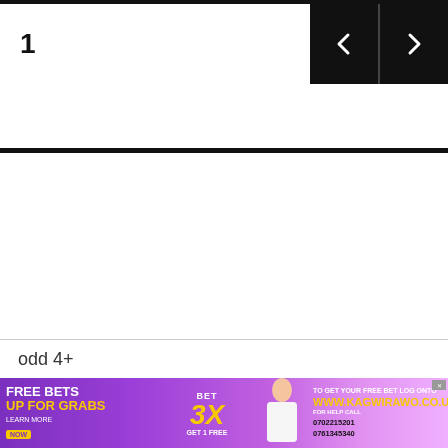1
odd 4+
[Figure (other): Advertisement banner: FREE BETS UP FOR GRABS / BET 3X GET 1 FREE / TO GET YOUR FREE BET LOG ONTO WWW.KAGWIRAWO.CO.UG / FOR HELP CALL 0702215201 / 0761345340]